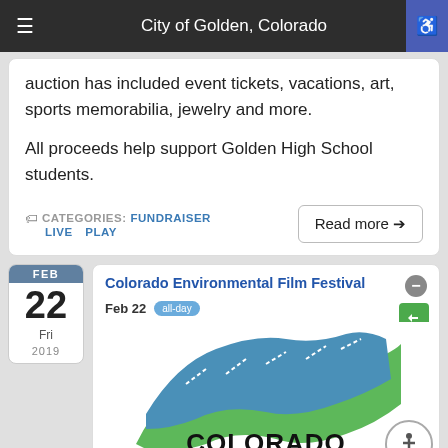City of Golden, Colorado
auction has included event tickets, vacations, art, sports memorabilia, jewelry and more.
All proceeds help support Golden High School students.
CATEGORIES: FUNDRAISER  LIVE  PLAY
Read more →
FEB 22 Fri 2019
Colorado Environmental Film Festival
Feb 22  all-day
[Figure (logo): Colorado Environmental Film Festival logo with film strip graphic and text 'COLORADO Environmental']